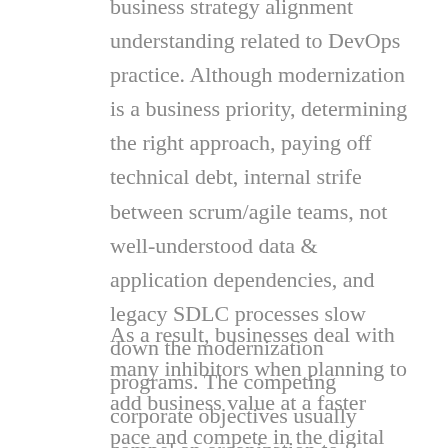business strategy alignment understanding related to DevOps practice. Although modernization is a business priority, determining the right approach, paying off technical debt, internal strife between scrum/agile teams, not well-understood data & application dependencies, and legacy SDLC processes slow down the modernization programs. The competing corporate objectives usually compel an organization to manage and deploy a mix of environments, including on-prem configurations, private cloud, and multiple public cloud services. These diverse environments result in the need for a hybrid approach.
As a result, businesses deal with many inhibitors when planning to add business value at a faster pace and compete in the digital economy. The big challenge is building applications faster, reducing